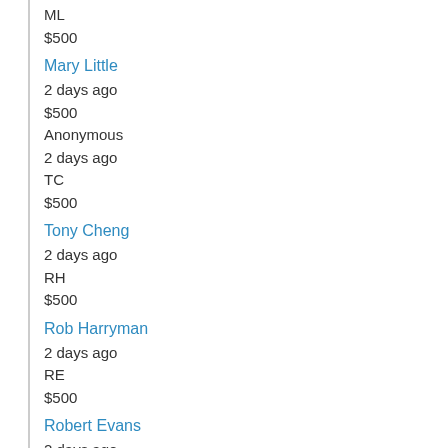ML
$500
Mary Little
2 days ago
$500
Anonymous
2 days ago
TC
$500
Tony Cheng
2 days ago
RH
$500
Rob Harryman
2 days ago
RE
$500
Robert Evans
2 days ago
ML
$500